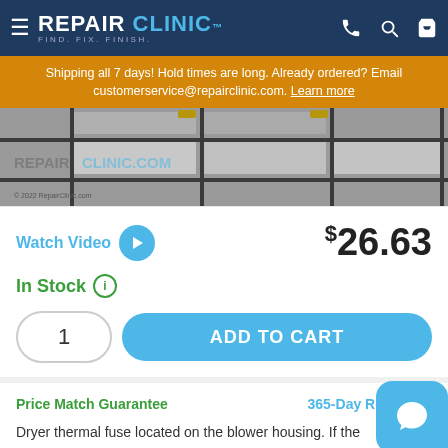REPAIR CLINIC — FIND. FIX. FINISH.
Shipping all 7 days! Hold times are long. Already ordered? Email customerservice@repairclinic.com. Learn more
[Figure (photo): Product image with REPAIRCLINIC.COM watermark and grid background. Copyright 2022 RepairClinic.com]
Watch Video    $26.63
In Stock
1    ADD TO CART
Price Match Guarantee    365-Day Return Po...
Dryer thermal fuse located on the blower housing. If the